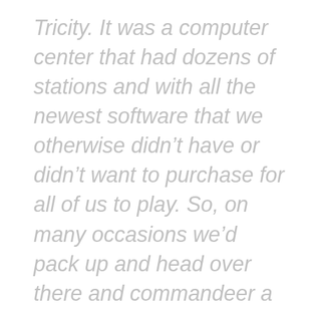Tricity. It was a computer center that had dozens of stations and with all the newest software that we otherwise didn't have or didn't want to purchase for all of us to play. So, on many occasions we'd pack up and head over there and commandeer a dozen stations and duke it out online! The business was a hit and the year was 1997, and such stores were far and few between. Often the only venue for gamers was the colleges and